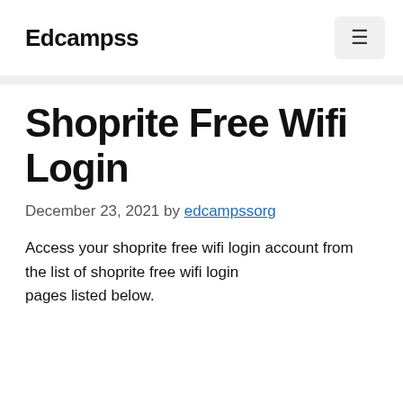Edcampss
Shoprite Free Wifi Login
December 23, 2021 by edcampssorg
Access your shoprite free wifi login account from the list of shoprite free wifi login pages listed below.